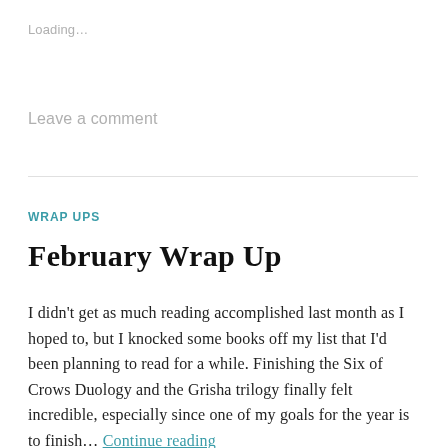Loading…
Leave a comment
WRAP UPS
February Wrap Up
I didn't get as much reading accomplished last month as I hoped to, but I knocked some books off my list that I'd been planning to read for a while. Finishing the Six of Crows Duology and the Grisha trilogy finally felt incredible, especially since one of my goals for the year is to finish… Continue reading